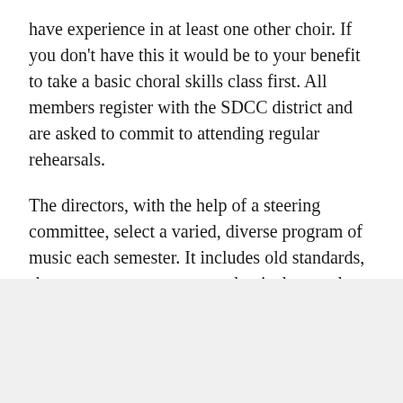have experience in at least one other choir. If you don't have this it would be to your benefit to take a basic choral skills class first. All members register with the SDCC district and are asked to commit to attending regular rehearsals.
The directors, with the help of a steering committee, select a varied, diverse program of music each semester. It includes old standards, show tunes, contemporary, classical, gospel, inspirational and more.